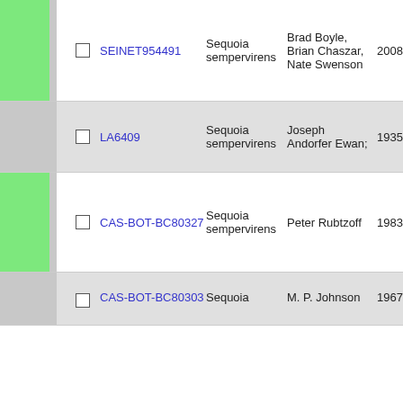|  | ID | Species | Collector | Date |  |
| --- | --- | --- | --- | --- | --- |
|  | SEINET954491 | Sequoia sempervirens | Brad Boyle, Brian Chaszar, Nate Swenson | 2008-1 | 9 |
|  | LA6409 | Sequoia sempervirens | Joseph Andorfer Ewan; | 1935-2-23 | 9 |
|  | CAS-BOT-BC80327 | Sequoia sempervirens | Peter Rubtzoff | 1983-7-30 | 9 |
|  | CAS-BOT-BC80303 | Sequoia | M. P. Johnson | 1967-3-18 | 1 |